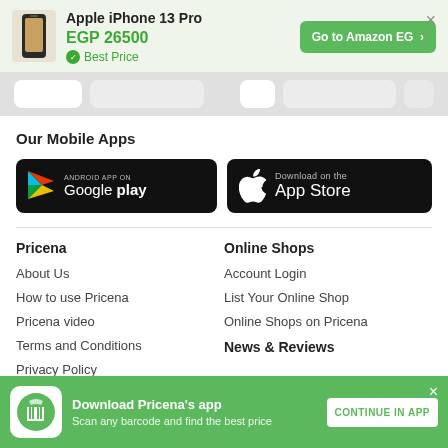Apple iPhone 13 Pro
EGP 26500
Best Price
Go to Amazon EG
Our Mobile Apps
[Figure (logo): Google Play store badge - black rounded rectangle with Play triangle icon and text 'ANDROID APP ON Google play']
[Figure (logo): Apple App Store badge - black rounded rectangle with Apple logo and text 'Download on the App Store']
Pricena
Online Shops
About Us
Account Login
How to use Pricena
List Your Online Shop
Pricena video
Online Shops on Pricena
Terms and Conditions
News & Reviews
Privacy Policy
Download Pricena's app
Scan any barcode and find the best price
CONTINUE IN APP